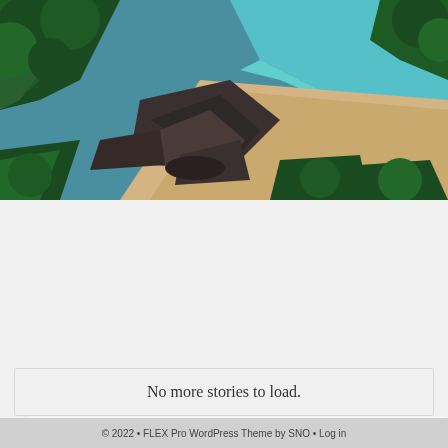[Figure (photo): Aerial view of a tropical beach with turquoise water, sandy shore, dark rocks, and lush green vegetation surrounding the coastline.]
Prepare your photos for online presentation
Sample Staff Member, Staff Writer
May 18, 2021
No more stories to load.
© 2022 • FLEX Pro WordPress Theme by SNO • Log in